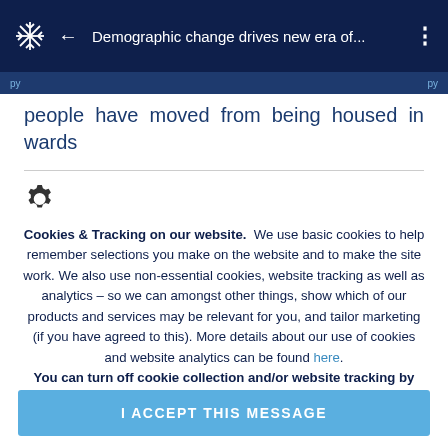Demographic change drives new era of...
people have moved from being housed in wards
Cookies & Tracking on our website.  We use basic cookies to help remember selections you make on the website and to make the site work. We also use non-essential cookies, website tracking as well as analytics – so we can amongst other things, show which of our products and services may be relevant for you, and tailor marketing (if you have agreed to this). More details about our use of cookies and website analytics can be found here. You can turn off cookie collection and/or website tracking by updating your cookies & tracking preferences in your browser settings.
I ACCEPT THIS MESSAGE